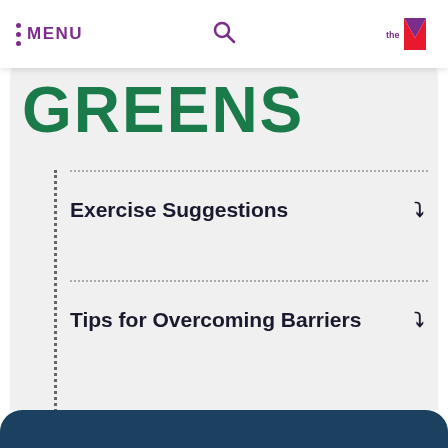MENU
GREENS
Exercise Suggestions
Tips for Overcoming Barriers